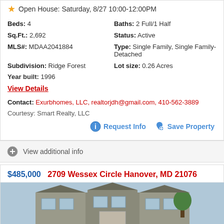Open House: Saturday, 8/27 10:00-12:00PM
Beds: 4
Baths: 2 Full/1 Half
Sq.Ft.: 2,692
Status: Active
MLS#: MDAA2041884
Type: Single Family, Single Family-Detached
Subdivision: Ridge Forest
Lot size: 0.26 Acres
Year built: 1996
View Details
Contact: Exurbhomes, LLC, realtorjdh@gmail.com, 410-562-3889
Courtesy: Smart Realty, LLC
Request Info
Save Property
View additional info
$485,000   2709 Wessex Circle Hanover, MD 21076
[Figure (photo): Exterior photo of a townhouse/single family home with gray siding and blue windows]